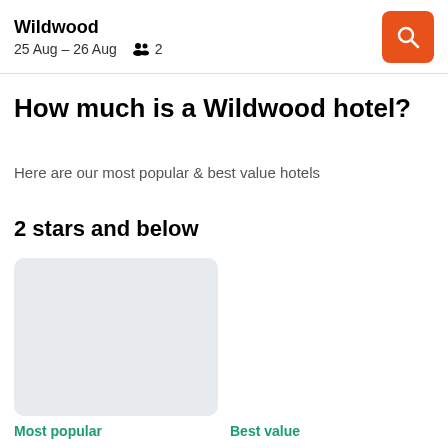Wildwood
25 Aug – 26 Aug   2
How much is a Wildwood hotel?
Here are our most popular & best value hotels
2 stars and below
[Figure (photo): Gray placeholder card image for Most popular hotel]
Most popular
[Figure (photo): Empty area for Best value hotel card]
Best value